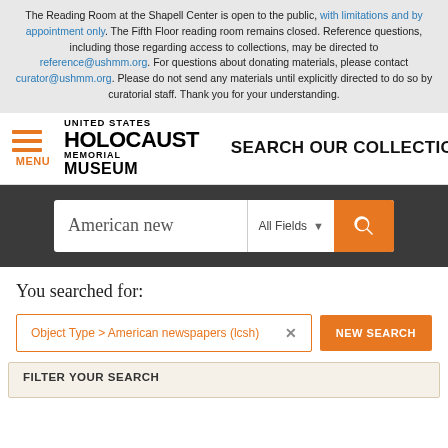The Reading Room at the Shapell Center is open to the public, with limitations and by appointment only. The Fifth Floor reading room remains closed. Reference questions, including those regarding access to collections, may be directed to reference@ushmm.org. For questions about donating materials, please contact curator@ushmm.org. Please do not send any materials until explicitly directed to do so by curatorial staff. Thank you for your understanding.
[Figure (logo): United States Holocaust Memorial Museum logo with hamburger menu icon and SEARCH OUR COLLECTIONS text]
[Figure (screenshot): Search bar with text 'American new', All Fields dropdown, and orange search button]
You searched for:
Object Type > American newspapers (lcsh)  ×   NEW SEARCH
FILTER YOUR SEARCH